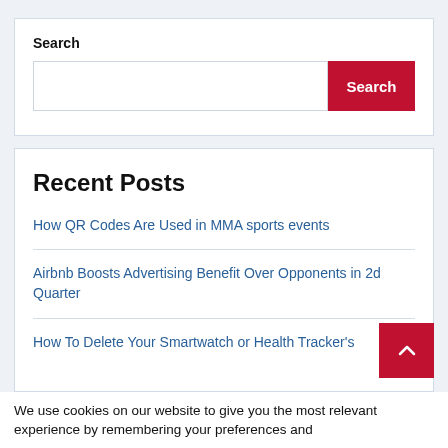Search
[Figure (screenshot): Search input box with a red Search button]
Recent Posts
How QR Codes Are Used in MMA sports events
Airbnb Boosts Advertising Benefit Over Opponents in 2d Quarter
How To Delete Your Smartwatch or Health Tracker's
We use cookies on our website to give you the most relevant experience by remembering your preferences and